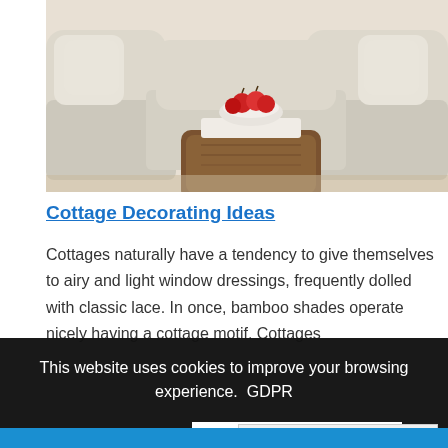[Figure (photo): Interior photo of a living room with white slipcovered sofas and a brown leather/wood ottoman coffee table. A white bowl of apples sits on a white tray on the ottoman.]
Cottage Decorating Ideas
Cottages naturally have a tendency to give themselves to airy and light window dressings, frequently dolled with classic lace. In once, bamboo shades operate nicely having a cottage motif. Cottages
This website uses cookies to improve your browsing experience. GDPR
DECLINE
ALLOW
classic.
English